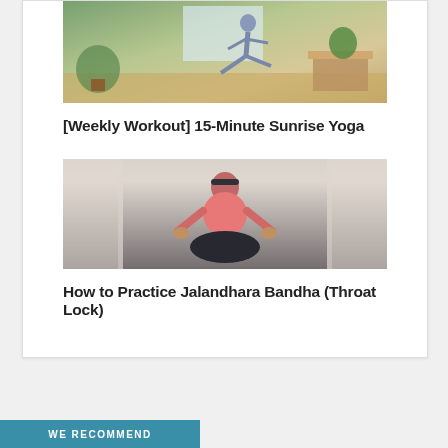[Figure (photo): Woman in athletic wear doing a yoga warrior pose in a living room with plants and a wooden table in the background]
[Weekly Workout] 15-Minute Sunrise Yoga
[Figure (photo): Woman in pink athletic top sitting in a yoga pose with hands on knees, wearing a headband, with white curtains in the background]
How to Practice Jalandhara Bandha (Throat Lock)
WE RECOMMEND